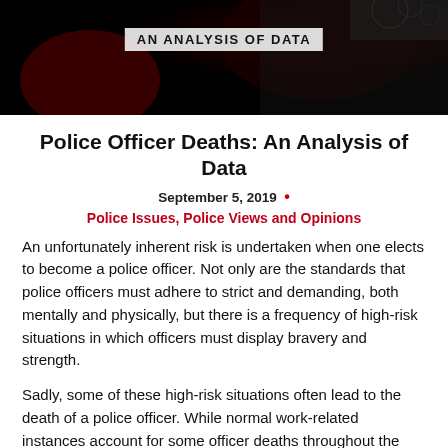[Figure (photo): Dark background hero image with a police/memorial scene. White banner overlay reads 'AN ANALYSIS OF DATA']
Police Officer Deaths: An Analysis of Data
September 5, 2019  •
Police Issues, Police Views and Opinions
An unfortunately inherent risk is undertaken when one elects to become a police officer. Not only are the standards that police officers must adhere to strict and demanding, both mentally and physically, but there is a frequency of high-risk situations in which officers must display bravery and strength.
Sadly, some of these high-risk situations often lead to the death of a police officer. While normal work-related instances account for some officer deaths throughout the years, the sad fact remains that shooting and other violent deaths occur at a much higher rate involving police officers.